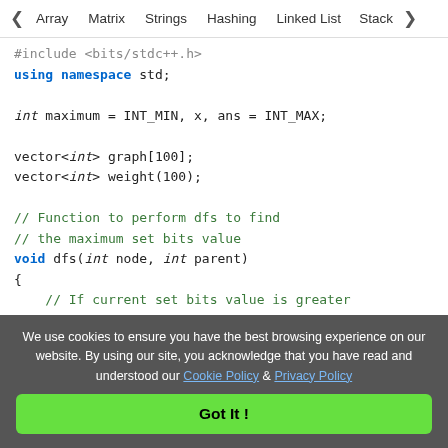< Array  Matrix  Strings  Hashing  Linked List  Stack >
#include <bits/stdc++.h>
using namespace std;

int maximum = INT_MIN, x, ans = INT_MAX;

vector<int> graph[100];
vector<int> weight(100);

// Function to perform dfs to find
// the maximum set bits value
void dfs(int node, int parent)
{
    // If current set bits value is greater
    // the current maximum
    int a = __builtin_popcount(weight[node]
    if (maximum < a) {
We use cookies to ensure you have the best browsing experience on our website. By using our site, you acknowledge that you have read and understood our Cookie Policy & Privacy Policy
Got It !